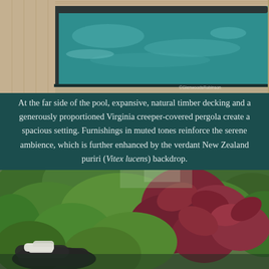[Figure (photo): Top photo of a swimming pool with teal/turquoise water, wooden decking visible at the top, dark border around the pool edge. Watermark text visible in lower right corner.]
At the far side of the pool, expansive, natural timber decking and a generously proportioned Virginia creeper-covered pergola create a spacious setting. Furnishings in muted tones reinforce the serene ambience, which is further enhanced by the verdant New Zealand puriri (Vitex lucens) backdrop.
[Figure (photo): Garden photo showing lush green foliage with large burgundy/red-leafed plants (possibly Japanese maple), a dark wicker/rattan lounge chair with white cushions visible at lower left. Dense verdant garden setting.]